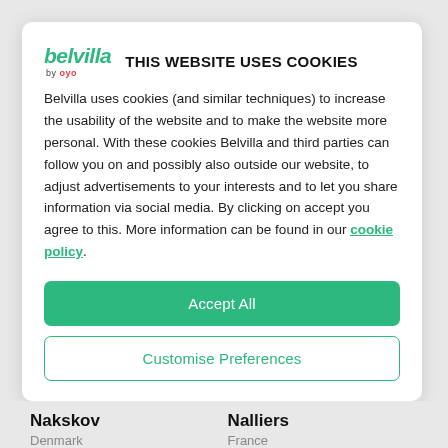[Figure (logo): Belvilla by OYO logo — green italic bold wordmark 'belvilla' with 'by oyo' in small text below]
THIS WEBSITE USES COOKIES
Belvilla uses cookies (and similar techniques) to increase the usability of the website and to make the website more personal. With these cookies Belvilla and third parties can follow you on and possibly also outside our website, to adjust advertisements to your interests and to let you share information via social media. By clicking on accept you agree to this. More information can be found in our cookie policy.
Accept All
Customise Preferences
Nakskov
Denmark
Nalliers
France